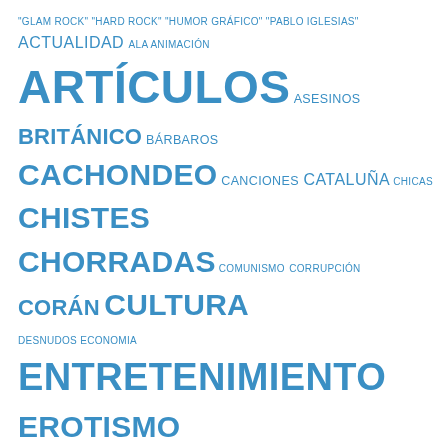[Figure (infographic): Tag cloud in blue text showing various Spanish-language topic tags in different sizes indicating frequency/weight. Tags include: "GLAM ROCK" "HARD ROCK" "HUMOR GRÁFICO" "PABLO IGLESIAS" ACTUALIDAD ALA ANIMACIÓN ARTÍCULOS ASESINOS BRITÁNICO BÁRBAROS CACHONDEO CANCIONES CATALUÑA CHICAS CHISTES CHORRADAS COMUNISMO CORRUPCIÓN CORÁN CULTURA DESNUDOS ECONOMIA ENTRETENIMIENTO EROTISMO ESPAÑA EUROPA FOTOGRAFIA FOTOGRAFIAS FOTOS GRUPOS HISTORIA HISTORIAS HUMOR IMÁGENES INVASIÓN ISLAM ISLAMISMO ISLAMISTAS LETRAS MAHOMA MANIPULACIÓN MUJERES MUSULMANES MÚSICA NOTICIAS OCIO]